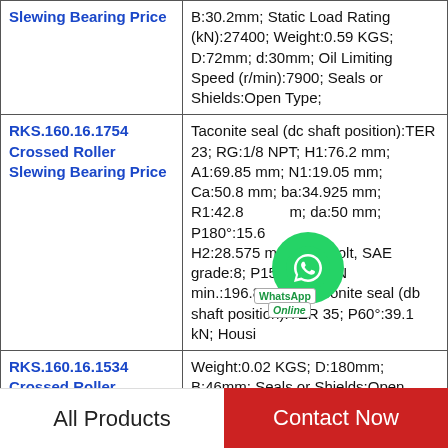| Product | Specifications |
| --- | --- |
| Slewing Bearing Price | B:30.2mm; Static Load Rating (kN):27400; Weight:0.59 KGS; D:72mm; d:30mm; Oil Limiting Speed (r/min):7900; Seals or Shields:Open Type; |
| RKS.160.16.1754 Crossed Roller Slewing Bearing Price | Taconite seal (dc shaft position):TER 23; RG:1/8 NPT; H1:76.2 mm; A1:69.85 mm; N1:19.05 mm; Ca:50.8 mm; ba:34.925 mm; R1:42.8 mm; da:50 mm; P180°:15.6 kN; H2:28.575 mm; Cap bolt, SAE grade:8; P150°:12.9 kN; Od min.:196.85 mm; Taconite seal (db shaft position):TER 35; P60°:39.1 kN; Housi |
| RKS.160.16.1534 Crossed Roller | Weight:0.02 KGS; D:180mm; B:46mm; Seals or Shields:Open Type; Clearance:Standard; Cage |
All Products   Contact Now